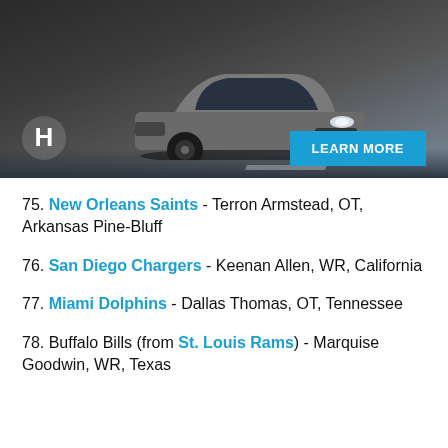[Figure (photo): Honda SUV advertisement showing a dark gray Honda CR-V driving on a road at night/dusk, with Honda logo and a blue 'LEARN MORE' button in the lower right.]
75. New Orleans Saints - Terron Armstead, OT, Arkansas Pine-Bluff
76. San Diego Chargers - Keenan Allen, WR, California
77. Miami Dolphins - Dallas Thomas, OT, Tennessee
78. Buffalo Bills (from St. Louis Rams) - Marquise Goodwin, WR, Texas